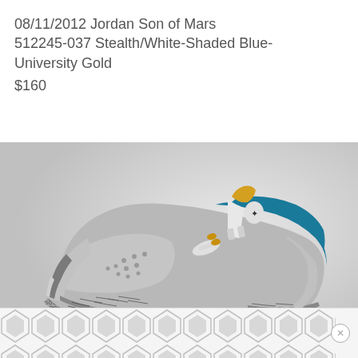08/11/2012 Jordan Son of Mars 512245-037 Stealth/White-Shaded Blue-University Gold
$160
[Figure (photo): Jordan Son of Mars sneaker in Stealth/White-Shaded Blue-University Gold colorway. Grey leather upper with teal/blue accents, yellow tongue lining, elephant print midsole in black and grey, teal outsole. Watermark reads SneakerFiles.com]
[Figure (other): Advertisement banner at bottom with grey hexagonal/diamond tile pattern and an X close button on the right side]